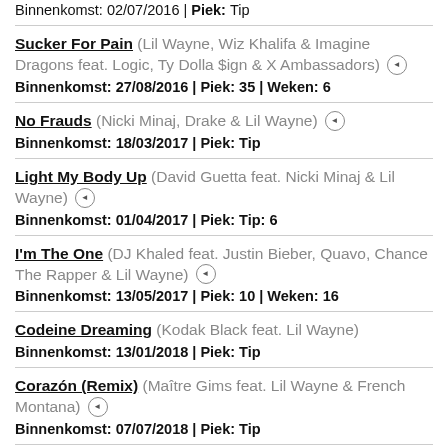Binnenkomst: 02/07/2016 | Piek: Tip
Sucker For Pain (Lil Wayne, Wiz Khalifa & Imagine Dragons feat. Logic, Ty Dolla $ign & X Ambassadors) [audio] Binnenkomst: 27/08/2016 | Piek: 35 | Weken: 6
No Frauds (Nicki Minaj, Drake & Lil Wayne) [audio] Binnenkomst: 18/03/2017 | Piek: Tip
Light My Body Up (David Guetta feat. Nicki Minaj & Lil Wayne) [audio] Binnenkomst: 01/04/2017 | Piek: Tip: 6
I'm The One (DJ Khaled feat. Justin Bieber, Quavo, Chance The Rapper & Lil Wayne) [audio] Binnenkomst: 13/05/2017 | Piek: 10 | Weken: 16
Codeine Dreaming (Kodak Black feat. Lil Wayne) Binnenkomst: 13/01/2018 | Piek: Tip
Corazón (Remix) (Maître Gims feat. Lil Wayne & French Montana) [audio] Binnenkomst: 07/07/2018 | Piek: Tip
Mona Lisa (Lil Wayne feat. Kendrick Lamar) [audio] Binnenkomst: 06/10/2018 | Piek: Tip: 35